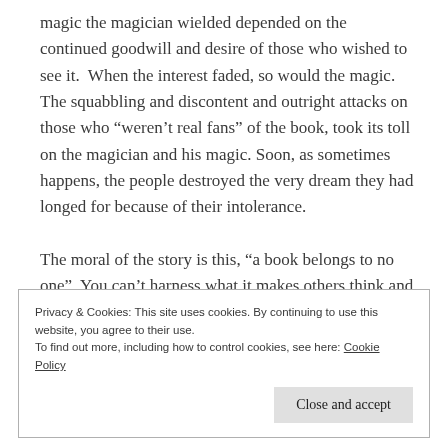magic the magician wielded depended on the continued goodwill and desire of those who wished to see it.  When the interest faded, so would the magic. The squabbling and discontent and outright attacks on those who “weren’t real fans” of the book, took its toll on the magician and his magic. Soon, as sometimes happens, the people destroyed the very dream they had longed for because of their intolerance.

The moral of the story is this, “a book belongs to no one”. You can’t harness what it makes others think and feel. People bring their own stories with them
Privacy & Cookies: This site uses cookies. By continuing to use this website, you agree to their use.
To find out more, including how to control cookies, see here: Cookie Policy
Close and accept